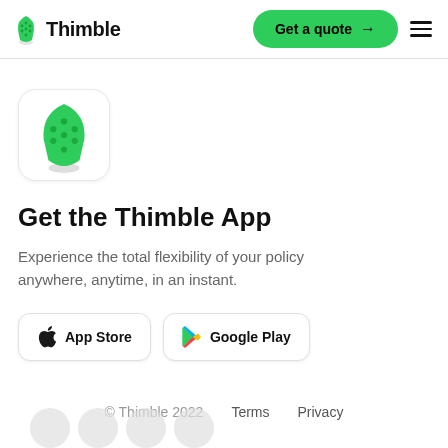Thimble | Get a quote
[Figure (illustration): Green thimble app icon in a rounded white box with subtle shadow]
Get the Thimble App
Experience the total flexibility of your policy anywhere, anytime, in an instant.
[Figure (other): App Store and Google Play store download buttons]
© Thimble 2022  Terms  Privacy